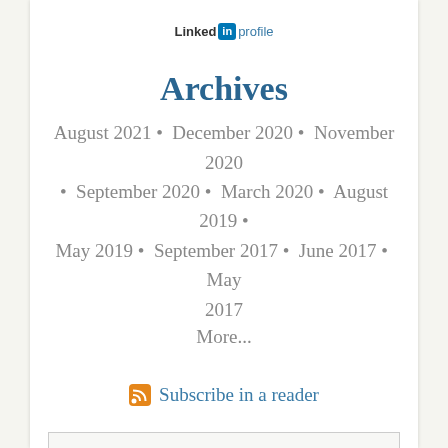[Figure (logo): LinkedIn profile badge with 'Linked' text, blue 'in' box, and 'profile' text in blue]
Archives
August 2021 • December 2020 • November 2020 • September 2020 • March 2020 • August 2019 • May 2019 • September 2017 • June 2017 • May 2017
More...
[Figure (infographic): RSS feed orange icon followed by 'Subscribe in a reader' link text]
Enter your email address: